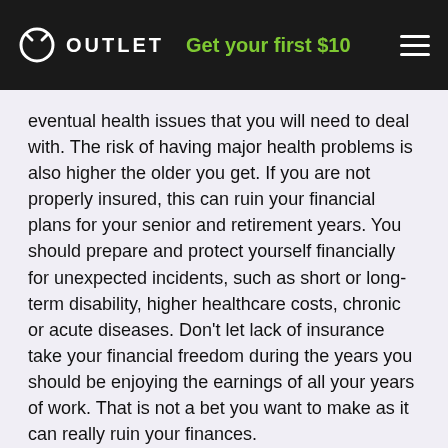OUTLET  Get your first $10
eventual health issues that you will need to deal with. The risk of having major health problems is also higher the older you get. If you are not properly insured, this can ruin your financial plans for your senior and retirement years. You should prepare and protect yourself financially for unexpected incidents, such as short or long-term disability, higher healthcare costs, chronic or acute diseases. Don't let lack of insurance take your financial freedom during the years you should be enjoying the earnings of all your years of work. That is not a bet you want to make as it can really ruin your finances.
Financial Advisers for